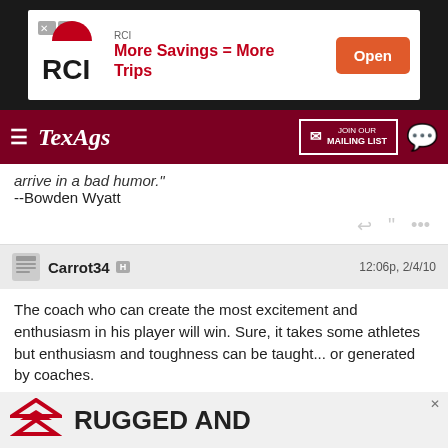[Figure (screenshot): RCI advertisement banner with logo, 'More Savings = More Trips' text, and Open button]
TexAgs — JOIN OUR MAILING LIST
arrive in a bad humor."
--Bowden Wyatt
Carrot34  H   12:06p, 2/4/10

The coach who can create the most excitement and enthusiasm in his player will win. Sure, it takes some athletes but enthusiasm and toughness can be taught... or generated by coaches.

For example the fable about coach Bryant had some truth in it.

"He can take hisn and beat yourn or he can take yourn and beat hisn". Sounds silly but it a fact.

I Support the Program win or lose.
[Figure (screenshot): Rugged advertisement banner at bottom with inverted triangle logo and 'RUGGED AND' text]